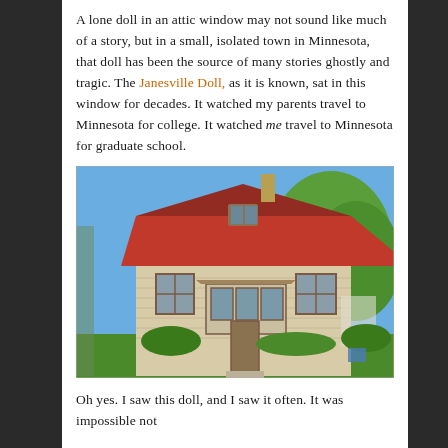A lone doll in an attic window may not sound like much of a story, but in a small, isolated town in Minnesota, that doll has been the source of many stories ghostly and tragic. The Janesville Doll, as it is known, sat in this window for decades. It watched my parents travel to Minnesota for college. It watched me travel to Minnesota for graduate school.
[Figure (photo): A two-story wood-sided house with a red roof and brown trim windows, surrounded by green trees and lawn under a blue sky.]
Oh yes. I saw this doll, and I saw it often. It was impossible not to...